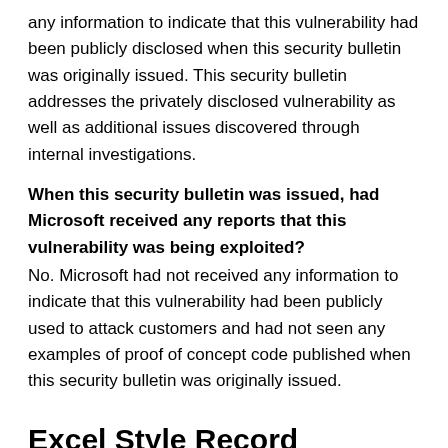any information to indicate that this vulnerability had been publicly disclosed when this security bulletin was originally issued. This security bulletin addresses the privately disclosed vulnerability as well as additional issues discovered through internal investigations.
When this security bulletin was issued, had Microsoft received any reports that this vulnerability was being exploited?
No. Microsoft had not received any information to indicate that this vulnerability had been publicly used to attack customers and had not seen any examples of proof of concept code published when this security bulletin was originally issued.
Excel Style Record Vulnerability – CVE-2008-0114